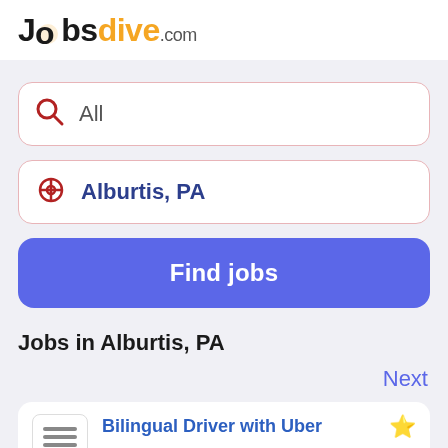Jobsdive.com
All
Alburtis, PA
Find jobs
Jobs in Alburtis, PA
Next
Bilingual Driver with Uber